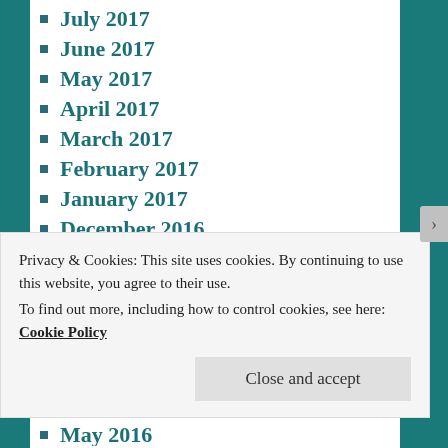July 2017
June 2017
May 2017
April 2017
March 2017
February 2017
January 2017
December 2016
November 2016
October 2016
September 2016
August 2016
July 2016
June 2016
May 2016
Privacy & Cookies: This site uses cookies. By continuing to use this website, you agree to their use.
To find out more, including how to control cookies, see here: Cookie Policy
Close and accept